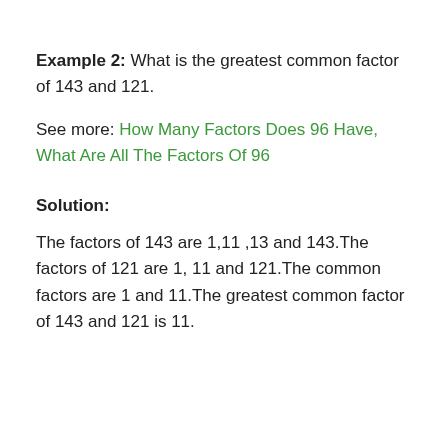Example 2: What is the greatest common factor of 143 and 121.
See more: How Many Factors Does 96 Have, What Are All The Factors Of 96
Solution:
The factors of 143 are 1,11 ,13 and 143.The factors of 121 are 1, 11 and 121.The common factors are 1 and 11.The greatest common factor of 143 and 121 is 11.